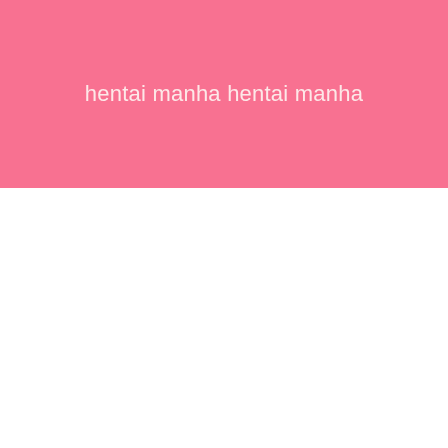[Figure (other): Pink rectangular banner block occupying the top portion of the page, containing centered light-colored text reading 'hentai manha hentai manha' on a salmon/coral pink background.]
hentai manha hentai manha